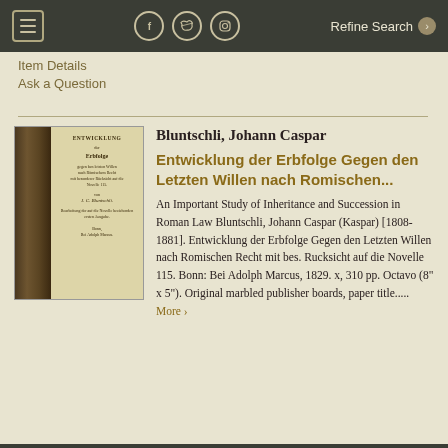≡  [facebook] [twitter] [instagram]  Refine Search ›
Item Details
Ask a Question
[Figure (photo): Photo of a book showing its marbled spine and title page: Entwicklung der Erbfolge by J.C. Bluntschli, Bonn 1829]
Bluntschli, Johann Caspar
Entwicklung der Erbfolge Gegen den Letzten Willen nach Romischen...
An Important Study of Inheritance and Succession in Roman Law Bluntschli, Johann Caspar (Kaspar) [1808-1881]. Entwicklung der Erbfolge Gegen den Letzten Willen nach Romischen Recht mit bes. Rucksicht auf die Novelle 115. Bonn: Bei Adolph Marcus, 1829. x, 310 pp. Octavo (8" x 5"). Original marbled publisher boards, paper title.....  More ›